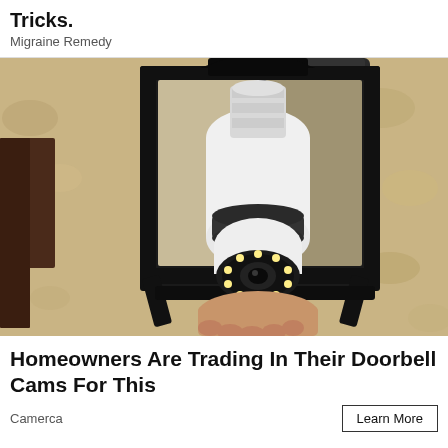Tricks.
Migraine Remedy
[Figure (photo): A security camera disguised as a light bulb being installed into an outdoor black metal lantern fixture mounted on a textured beige/tan stucco wall. A hand is visible holding the device which has a white dome body with a circular ring of LED lights at the bottom acting as the camera lens.]
Homeowners Are Trading In Their Doorbell Cams For This
Camerca
Learn More